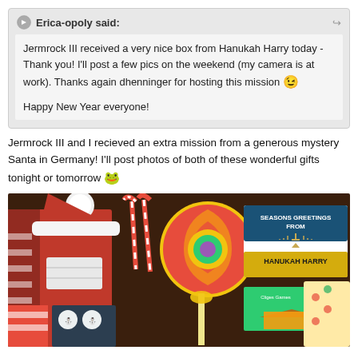Erica-opoly said: [quote box] Jermrock III received a very nice box from Hanukah Harry today - Thank you! I'll post a few pics on the weekend (my camera is at work). Thanks again dhenninger for hosting this mission 😊

Happy New Year everyone!
Jermrock III and I recieved an extra mission from a generous mystery Santa in Germany! I'll post photos of both of these wonderful gifts tonight or tomorrow 🐸
[Figure (photo): Photo of Hanukkah Harry gift box contents on a dark wooden table: red santa hat, candy canes, colorful lollipop candy, a card reading 'Seasons Greetings From Hanukah Harry', small green box, and other holiday items]